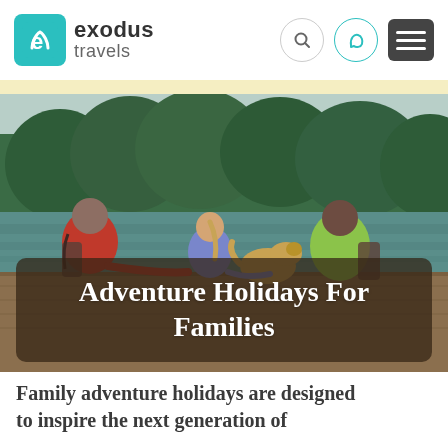[Figure (logo): Exodus Travels logo with teal rounded square icon and company name]
[Figure (photo): Family of three and a dog sitting on a dock viewed from behind, looking at a mountain lake with pine trees. Hero image with dark semi-transparent overlay box containing title text.]
Adventure Holidays For Families
Family adventure holidays are designed to inspire the next generation of